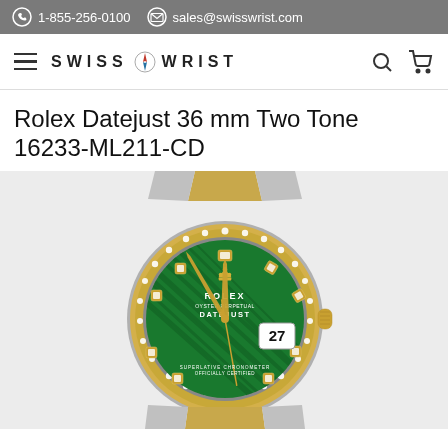1-855-256-0100  sales@swisswrist.com
[Figure (logo): Swiss Wrist logo with hamburger menu, brand name SWISS WRIST with compass rose icon, search and cart icons]
Rolex Datejust 36 mm Two Tone 16233-ML211-CD
[Figure (photo): Rolex Datejust 36mm two-tone watch with green malachite dial, diamond bezel, diamond hour markers, gold hands, date window showing 27, oyster bracelet in stainless steel and yellow gold]